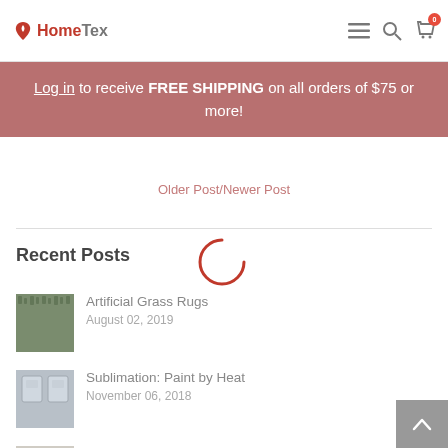HomeTex navigation bar with logo, hamburger menu, search, and cart icons
Log in to receive FREE SHIPPING on all orders of $75 or more!
Older Post/Newer Post
Recent Posts
[Figure (other): Loading spinner (partial circle arc in red/coral color)]
Artificial Grass Rugs — August 02, 2019
Sublimation: Paint by Heat — November 06, 2018
What Size Pillow Form? — November 06, 2018